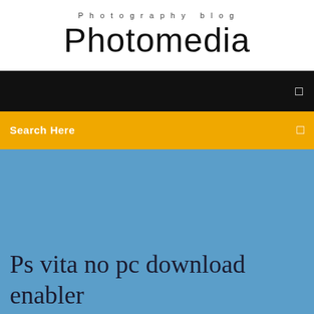Photography blog
Photomedia
[Figure (screenshot): Black navigation bar with a small white square icon on the right]
[Figure (screenshot): Yellow/amber search bar with 'Search Here' text in white on the left and a small white square icon on the right]
Ps vita no pc download enabler